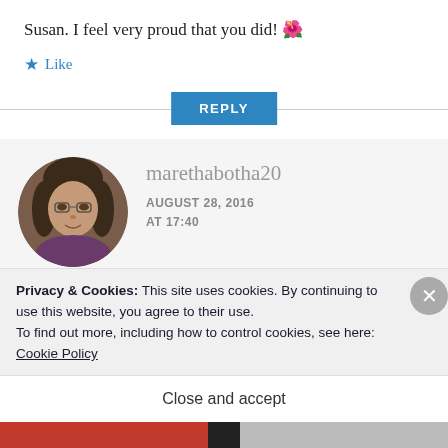Susan. I feel very proud that you did! 🌺
★ Like
REPLY
[Figure (photo): Circular avatar photo of a woman with glasses and dark hair]
marethabotha2
AUGUST 28, 2016
AT 17:40
Thanks Susan –
Privacy & Cookies: This site uses cookies. By continuing to use this website, you agree to their use.
To find out more, including how to control cookies, see here: Cookie Policy
Close and accept